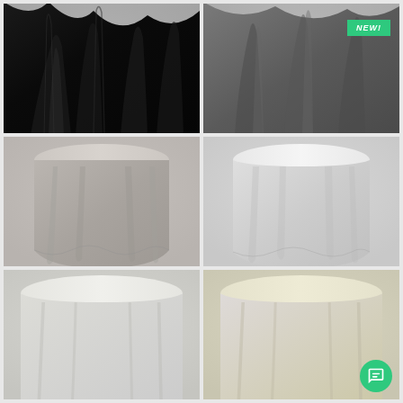[Figure (photo): Round table covered with a black draping tablecloth, showing flowing fabric folds at the bottom]
[Figure (photo): Round table covered with a dark gray draping tablecloth with a green NEW! badge overlay]
[Figure (photo): Round table covered with a light taupe/beige draping tablecloth showing full table silhouette]
[Figure (photo): Round table covered with a white draping tablecloth showing full table silhouette]
[Figure (photo): Round table covered with a cream/off-white draping tablecloth, partially visible]
[Figure (photo): Round table covered with a pale yellow/ivory draping tablecloth, partially visible]